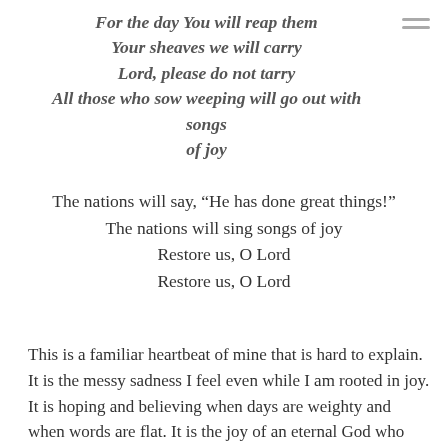For the day You will reap them
Your sheaves we will carry
Lord, please do not tarry
All those who sow weeping will go out with songs of joy
The nations will say, “He has done great things!”
The nations will sing songs of joy
Restore us, O Lord
Restore us, O Lord
This is a familiar heartbeat of mine that is hard to explain. It is the messy sadness I feel even while I am rooted in joy. It is hoping and believing when days are weighty and when words are flat. It is the joy of an eternal God who has promised restoration and will be faithful to deliver